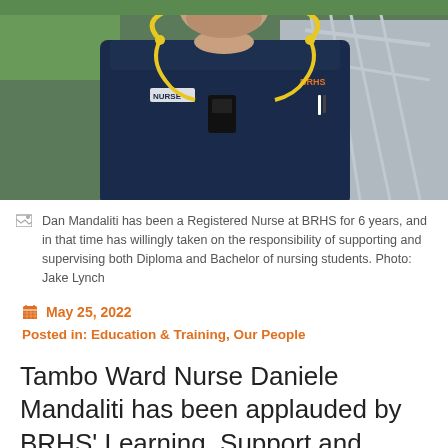[Figure (photo): Male nurse in dark navy scrubs with BRHS logo and NURSE badge, wearing a yellow stethoscope and body camera, standing outdoors near a ramp with green grass and pathway in background.]
Dan Mandaliti has been a Registered Nurse at BRHS for 6 years, and in that time has willingly taken on the responsibility of supporting and supervising both Diploma and Bachelor of nursing students. Photo: Jake Lynch
May 25, 2022
Posted in: Education & Training, Our People
Tambo Ward Nurse Daniele Mandaliti has been applauded by BRHS' Learning, Support and